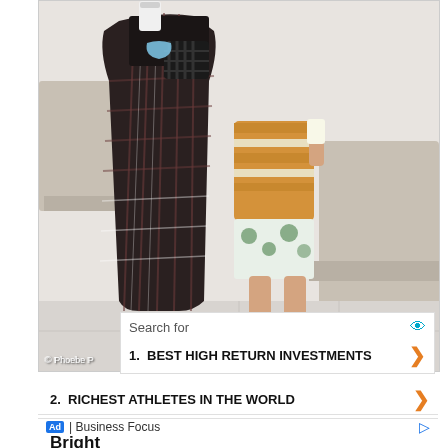[Figure (photo): A person in a plaid/checkered long dress and black sandals sitting with a child wearing an orange/tan striped top and blue Crocs shoes, sitting on a stone ledge against a white wall. The person holds a cup and has a black woven bag with a blue face mask. Watermark reads '© Phoebe P'.]
Search for
1.  BEST HIGH RETURN INVESTMENTS
2.  RICHEST ATHLETES IN THE WORLD
Ad | Business Focus
Bright